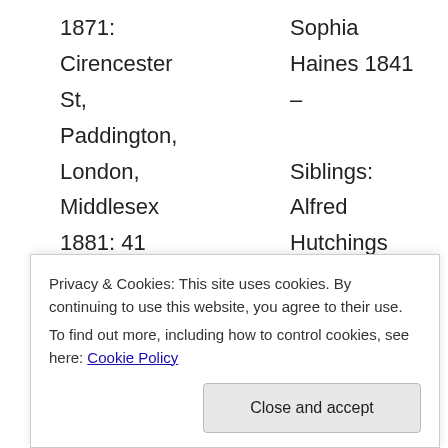1871: Sophia
Cirencester Haines 1841
St, –
Paddington,
London, Siblings:
Middlesex Alfred
1881: 41 Hutchings
Alfred Road, 1864 –
London Ellen
1891: 37 Hutchings
Marne 1872 –
Street, Charles
Chelsea Hutchings
Privacy & Cookies: This site uses cookies. By continuing to use this website, you agree to their use.
To find out more, including how to control cookies, see here: Cookie Policy